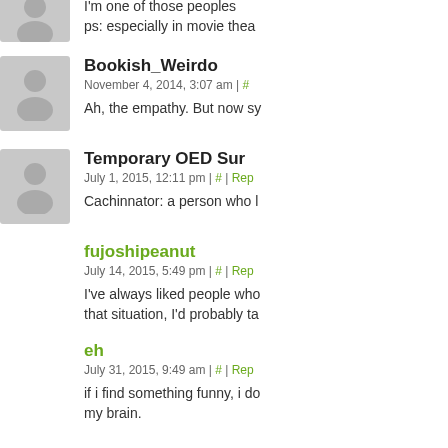I'm one of those peoples
ps: especially in movie thea
Bookish_Weirdo
November 4, 2014, 3:07 am | #
Ah, the empathy. But now sy
Temporary OED Sur
July 1, 2015, 12:11 pm | # | Rep
Cachinnator: a person who l
fujoshipeanut
July 14, 2015, 5:49 pm | # | Rep
I've always liked people who
that situation, I'd probably ta
eh
July 31, 2015, 9:49 am | # | Rep
if i find something funny, i do
my brain.